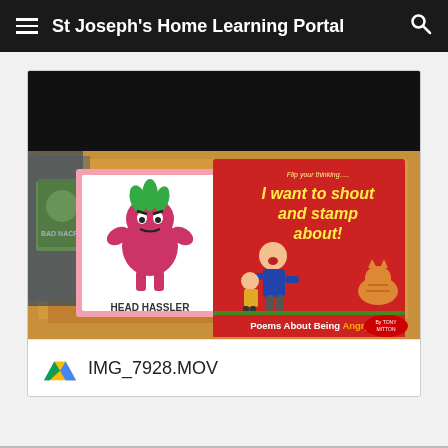St Joseph's Home Learning Portal
[Figure (photo): Photograph of children's books on a wooden desk/easel: a 'Head Hassler' card with a pink monster character, and a red book titled 'I want to shout and stamp about! Poems About Being Angry' by Tony Mitton.]
IMG_7928.MOV